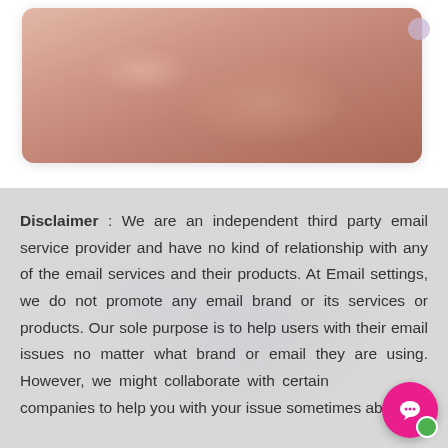[Figure (photo): Partial view of a hand/skin close-up photo displayed in a white rounded card with shadow]
Disclaimer : We are an independent third party email service provider and have no kind of relationship with any of the email services and their products. At Email settings, we do not promote any email brand or its services or products. Our sole purpose is to help users with their email issues no matter what brand or email they are using. However, we might collaborate with certain companies to help you with your issue sometimes abou